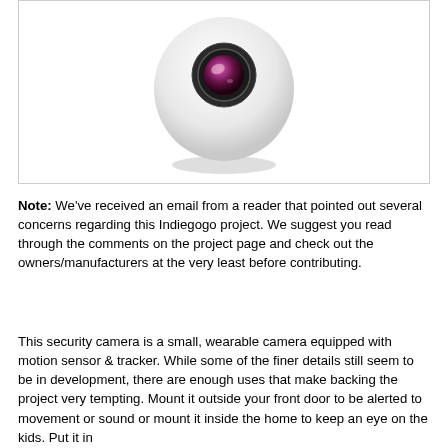[Figure (photo): A round white eyeball-shaped security camera with a camera lens in the center (dark lens with pink/magenta reflection), shown with a soft shadow beneath it on a white background, inside a light gray bordered box.]
Note: We've received an email from a reader that pointed out several concerns regarding this Indiegogo project. We suggest you read through the comments on the project page and check out the owners/manufacturers at the very least before contributing.
This security camera is a small, wearable camera equipped with motion sensor & tracker. While some of the finer details still seem to be in development, there are enough uses that make backing the project very tempting. Mount it outside your front door to be alerted to movement or sound or mount it inside the home to keep an eye on the kids. Put it in